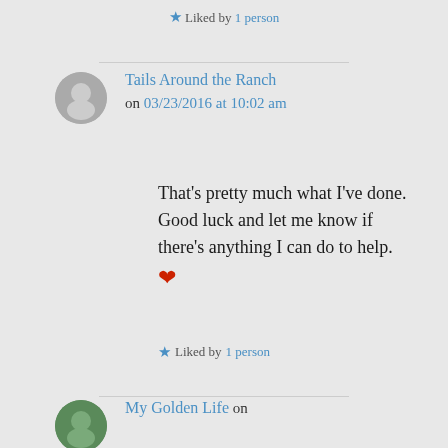★ Liked by 1 person
Tails Around the Ranch on 03/23/2016 at 10:02 am
That's pretty much what I've done. Good luck and let me know if there's anything I can do to help. ❤
★ Liked by 1 person
My Golden Life on